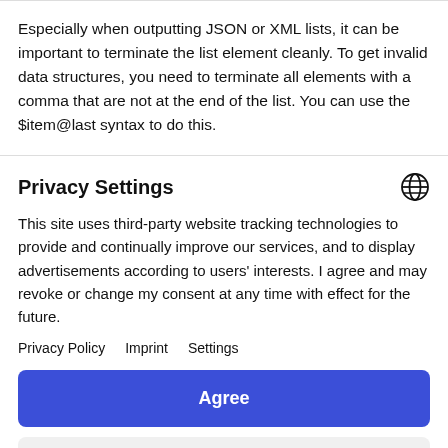Especially when outputting JSON or XML lists, it can be important to terminate the list element cleanly. To get invalid data structures, you need to terminate all elements with a comma that are not at the end of the list. You can use the $item@last syntax to do this.
Privacy Settings
This site uses third-party website tracking technologies to provide and continually improve our services, and to display advertisements according to users' interests. I agree and may revoke or change my consent at any time with effect for the future.
Privacy Policy   Imprint   Settings
Agree
decline
Powered by Usercentrics Consent Management